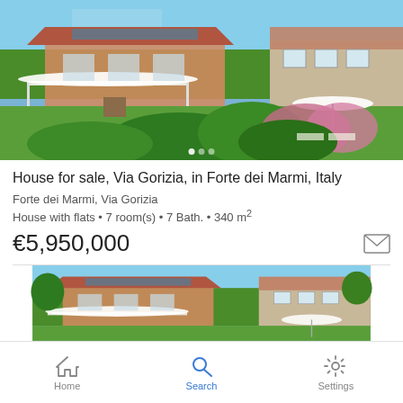[Figure (photo): Exterior photo of a house with pool and garden in Forte dei Marmi, Italy. Shows a modern house with covered terrace, swimming pool, lush green lawn, flowering shrubs, and blue sky.]
House for sale, Via Gorizia, in Forte dei Marmi, Italy
Forte dei Marmi, Via Gorizia
House with flats • 7 room(s) • 7 Bath. • 340 m²
€5,950,000
[Figure (photo): Second exterior photo of the same house, showing similar angle with terrace and pool area.]
Home  Search  Settings